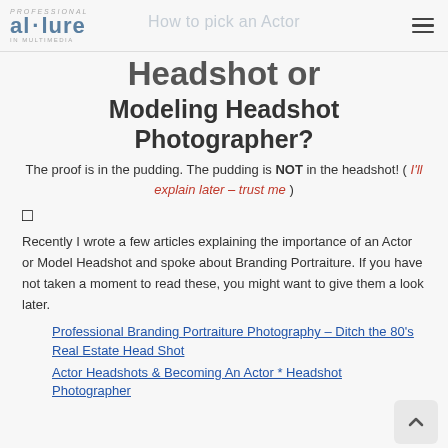allure professional photography | navigation menu
How to pick an Actor Headshot or Modeling Headshot Photographer?
The proof is in the pudding. The pudding is NOT in the headshot! ( I'll explain later – trust me )
🔲
Recently I wrote a few articles explaining the importance of an Actor or Model Headshot and spoke about Branding Portraiture. If you have not taken a moment to read these, you might want to give them a look later.
Professional Branding Portraiture Photography – Ditch the 80's Real Estate Head Shot
Actor Headshots & Becoming An Actor * Headshot Photographer